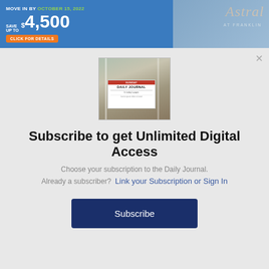[Figure (illustration): Advertisement banner for Astral at Franklin senior living community. Blue background with text: MOVE IN BY October 15, 2022, SAVE UP TO $4,500, orange button CLICK FOR DETAILS, script logo 'Astral AT FRANKLIN', and photo of two smiling older women.]
[Figure (photo): Photo of a newspaper (Daily Journal) on a front porch of a house.]
Subscribe to get Unlimited Digital Access
Choose your subscription to the Daily Journal.
Already a subscriber?  Link your Subscription or Sign In
Subscribe